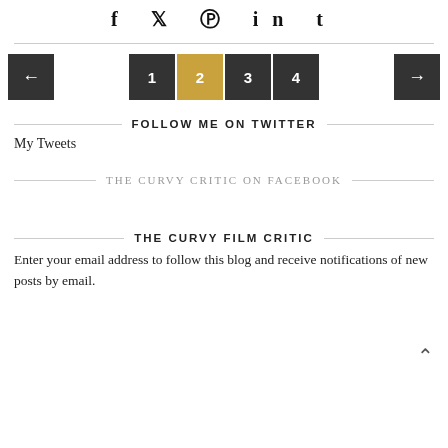[Figure (other): Social media icons: f (Facebook), bird (Twitter), circle-pin (Pinterest), in (LinkedIn), t (Tumblr)]
[Figure (other): Pagination navigation: left arrow button, page buttons 1, 2 (active/gold), 3, 4, right arrow button]
FOLLOW ME ON TWITTER
My Tweets
THE CURVY CRITIC ON FACEBOOK
THE CURVY FILM CRITIC
Enter your email address to follow this blog and receive notifications of new posts by email.